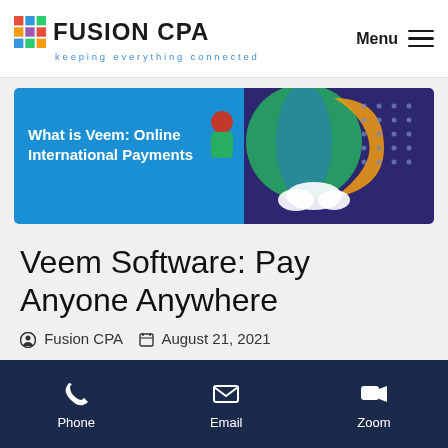Fusion CPA — keeping everything connected | Menu
[Figure (illustration): Banner image: What is Veem: Online International Payments — blue and purple background with illustrated globe and figures]
Veem Software: Pay Anyone Anywhere
© Fusion CPA   📅 August 21, 2021
Phone | Email | Zoom